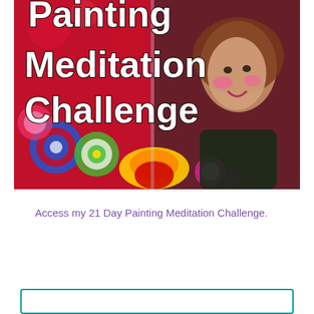[Figure (photo): Promotional banner image for '21 Day Painting Meditation Challenge' showing white bold text overlaid on a colorful background with swirling painted designs and a smiling woman with face paint on the right side.]
Access my 21 Day Painting Meditation Challenge.